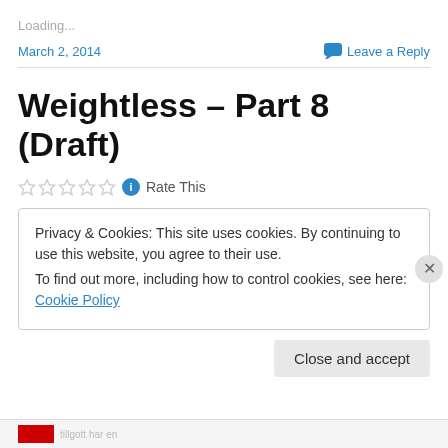Loading...
March 2, 2014
Leave a Reply
Weightless – Part 8 (Draft)
Rate This
Privacy & Cookies: This site uses cookies. By continuing to use this website, you agree to their use.
To find out more, including how to control cookies, see here: Cookie Policy
Close and accept